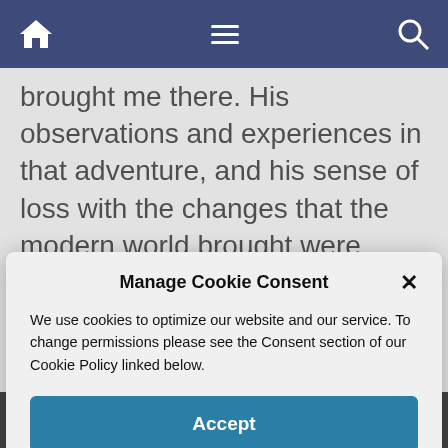[Figure (screenshot): Navigation bar with home icon, hamburger menu, and search icon on dark blue background]
brought me there. His observations and experiences in that adventure, and his sense of loss with the changes that the modern world brought were parallel to my own
[Figure (screenshot): Cookie consent modal dialog with title 'Manage Cookie Consent', body text about cookies, and Accept button]
[Figure (screenshot): Three pagination dots below modal area]
[Figure (screenshot): Ad strip and close button at bottom of screen on black bar]